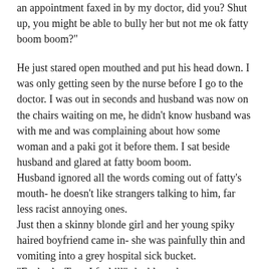an appointment faxed in by my doctor, did you? Shut up, you might be able to bully her but not me ok fatty boom boom?"
He just stared open mouthed and put his head down. I was only getting seen by the nurse before I go to the doctor. I was out in seconds and husband was now on the chairs waiting on me, he didn't know husband was with me and was complaining about how some woman and a paki got it before them. I sat beside husband and glared at fatty boom boom.
Husband ignored all the words coming out of fatty's mouth- he doesn't like strangers talking to him, far less racist annoying ones.
Just then a skinny blonde girl and her young spiky haired boyfriend came in- she was painfully thin and vomiting into a grey hospital sick bucket.
"Fucksake Tam, I feel ill" she bleated.